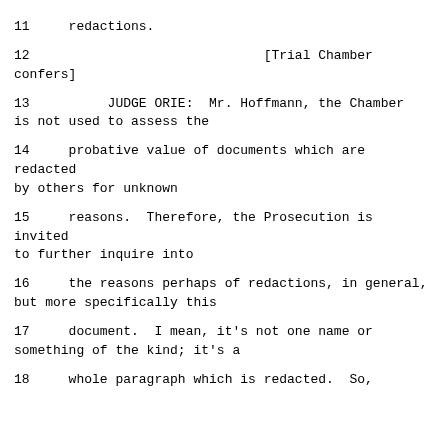11     redactions.
12                              [Trial Chamber confers]
13          JUDGE ORIE:  Mr. Hoffmann, the Chamber is not used to assess the
14     probative value of documents which are redacted by others for unknown
15     reasons.  Therefore, the Prosecution is invited to further inquire into
16     the reasons perhaps of redactions, in general, but more specifically this
17     document.  I mean, it's not one name or something of the kind; it's a
18     whole paragraph which is redacted.  So,